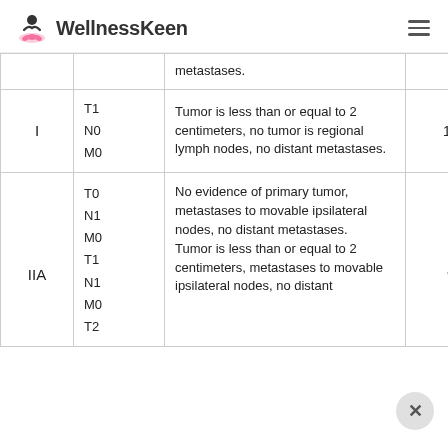WellnessKeen
| Stage | TNM | Description | Survival Rate |
| --- | --- | --- | --- |
|  |  | metastases. |  |
| I | T1
N0
M0 | Tumor is less than or equal to 2 centimeters, no tumor is regional lymph nodes, no distant metastases. | 100% |
| IIA | T0
N1
M0
T1
N1
M0
T2 | No evidence of primary tumor, metastases to movable ipsilateral nodes, no distant metastases. Tumor is less than or equal to 2 centimeters, metastases to movable ipsilateral nodes, no distant... | 92% |